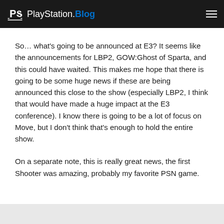PlayStation.Blog
So… what's going to be announced at E3? It seems like the announcements for LBP2, GOW:Ghost of Sparta, and this could have waited. This makes me hope that there is going to be some huge news if these are being announced this close to the show (especially LBP2, I think that would have made a huge impact at the E3 conference). I know there is going to be a lot of focus on Move, but I don't think that's enough to hold the entire show.
On a separate note, this is really great news, the first Shooter was amazing, probably my favorite PSN game.